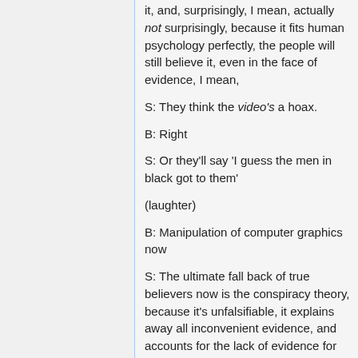it, and, surprisingly, I mean, actually not surprisingly, because it fits human psychology perfectly, the people will still believe it, even in the face of evidence, I mean,
S: They think the video's a hoax.
B: Right
S: Or they'll say 'I guess the men in black got to them'
(laughter)
B: Manipulation of computer graphics now
S: The ultimate fall back of true believers now is the conspiracy theory, because it's unfalsifiable, it explains away all inconvenient evidence, and accounts for the lack of evidence for whatever they wanna believe. Conspiracy theory solves all problems. Which is why it's worthless